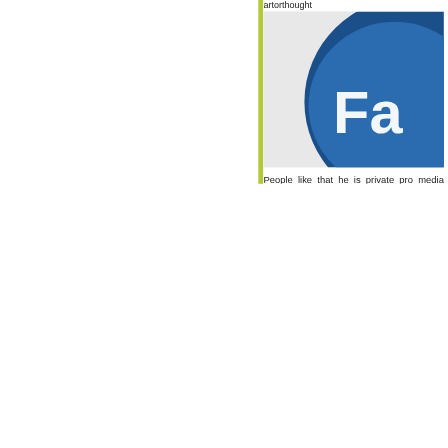artorthought
[Figure (illustration): Partial Facebook logo icon — a blue rounded button with 'Fa' visible, on a light gray background]
People like that he is private pro media genu
Q: “Why d
I don't. Leg that people li